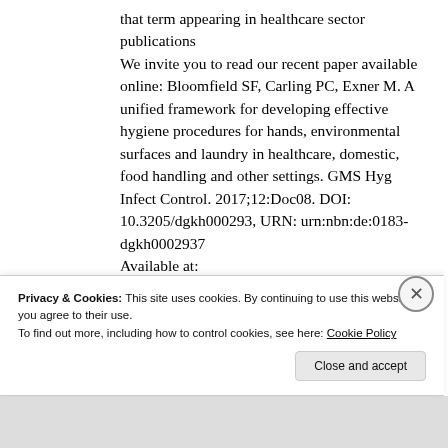that term appearing in healthcare sector publications
We invite you to read our recent paper available online: Bloomfield SF, Carling PC, Exner M. A unified framework for developing effective hygiene procedures for hands, environmental surfaces and laundry in healthcare, domestic, food handling and other settings. GMS Hyg Infect Control. 2017;12:Doc08. DOI: 10.3205/dgkh000293, URN: urn:nbn:de:0183-dgkh0002937
Available at:
Privacy & Cookies: This site uses cookies. By continuing to use this website, you agree to their use.
To find out more, including how to control cookies, see here: Cookie Policy